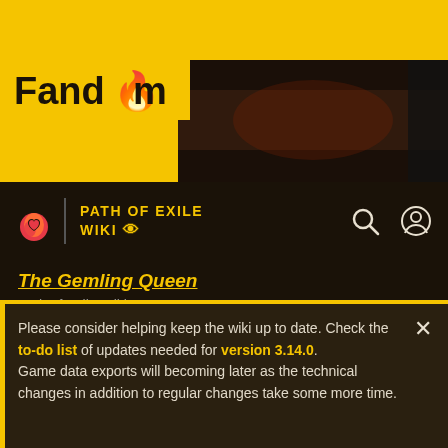[Figure (screenshot): Fandom website header with yellow background showing the Fandom logo]
PATH OF EXILE WIKI
The Gemling Queen
Path of Exile Wiki
[Figure (screenshot): Dark game screenshot showing a stone wall with circular indentations and a character figure]
Please consider helping keep the wiki up to date. Check the to-do list of updates needed for version 3.14.0. Game data exports will becoming later as the technical changes in addition to regular changes take some more time.